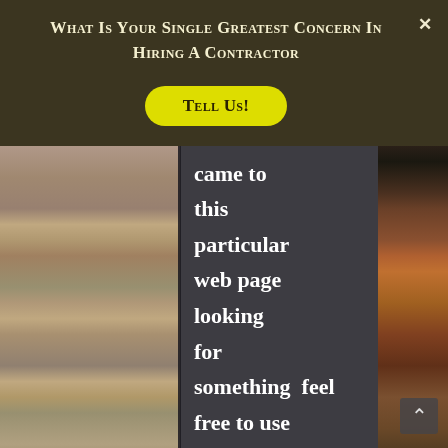What Is Your Single Greatest Concern In Hiring A Contractor
Tell Us!
[Figure (screenshot): Website screenshot showing a dark overlay modal with title 'What Is Your Single Greatest Concern In Hiring A Contractor' and a yellow 'Tell Us!' button, overlaid on a brick/masonry background photo. Below the modal header, a dark semi-transparent panel displays text: 'came to this particular web page looking for something feel free to use the website contact f...' where 'the' and 'website' and 'contact' appear in blue hyperlink color.]